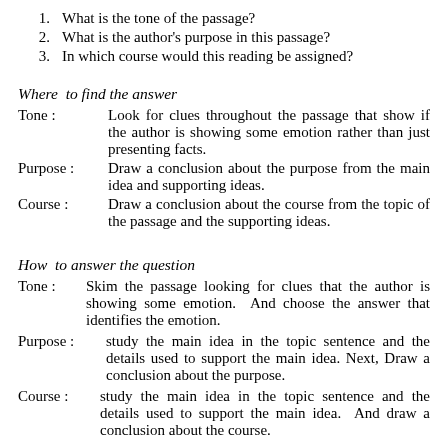1. What is the tone of the passage?
2. What is the author's purpose in this passage?
3. In which course would this reading be assigned?
Where to find the answer
Tone : Look for clues throughout the passage that show if the author is showing some emotion rather than just presenting facts.
Purpose : Draw a conclusion about the purpose from the main idea and supporting ideas.
Course : Draw a conclusion about the course from the topic of the passage and the supporting ideas.
How to answer the question
Tone : Skim the passage looking for clues that the author is showing some emotion. And choose the answer that identifies the emotion.
Purpose : study the main idea in the topic sentence and the details used to support the main idea. Next, Draw a conclusion about the purpose.
Course : study the main idea in the topic sentence and the details used to support the main idea. And draw a conclusion about the course.